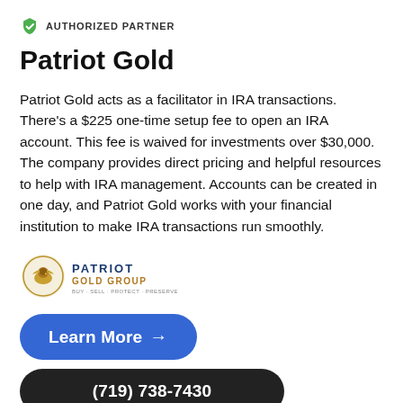AUTHORIZED PARTNER
Patriot Gold
Patriot Gold acts as a facilitator in IRA transactions. There's a $225 one-time setup fee to open an IRA account. This fee is waived for investments over $30,000. The company provides direct pricing and helpful resources to help with IRA management. Accounts can be created in one day, and Patriot Gold works with your financial institution to make IRA transactions run smoothly.
[Figure (logo): Patriot Gold Group logo with eagle emblem and text PATRIOT GOLD GROUP]
Learn More →
(719) 738-7430